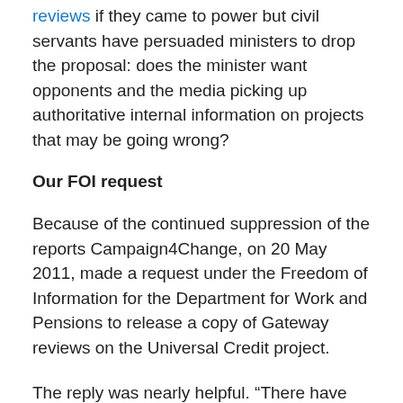reviews if they came to power but civil servants have persuaded ministers to drop the proposal: does the minister want opponents and the media picking up authoritative internal information on projects that may be going wrong?
Our FOI request
Because of the continued suppression of the reports Campaign4Change, on 20 May 2011, made a request under the Freedom of Information for the Department for Work and Pensions to release a copy of Gateway reviews on the Universal Credit project.
The reply was nearly helpful. “There have been no Gateway reviews on the Universal Credit programme. There has been one Starting Gate review on the Universal